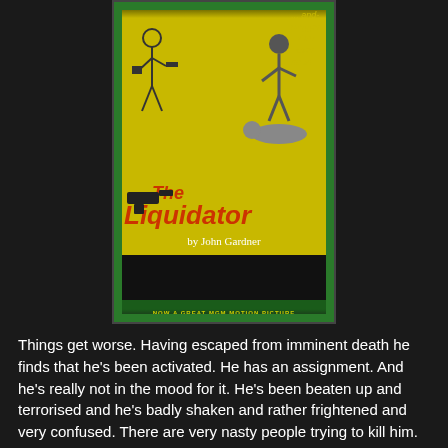[Figure (illustration): Book cover of 'The Liquidator by John Gardner' with yellow and green design, figures, and text 'NOW A GREAT MGM MOTION PICTURE']
Things get worse. Having escaped from imminent death he finds that he's been activated. He has an assignment. And he's really not in the mood for it. He's been beaten up and terrorised and he's badly shaken and rather frightened and very confused. There are very nasty people trying to kill him. He's so upset that he's not even sure if he will be able to perform in the bedroom with Iris.
The fact is that Boysie is not a super secret agent. He's a good shot and he's had some training but he's not a superb fighting machine. His one qualification for the job is his